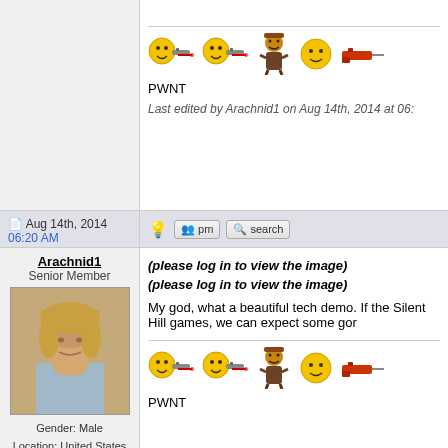[Figure (screenshot): Forum post continuation with emoji/smiley icons with guns, PWNT text, and last edited note]
PWNT
Last edited by Arachnid1 on Aug 14th, 2014 at 06:...
Aug 14th, 2014 06:20 AM
Arachnid1
Senior Member
Gender: Male
Location: United States
(please log in to view the image)
(please log in to view the image)
My god, what a beautiful tech demo. If the Silent Hill games, we can expect some gor
PWNT